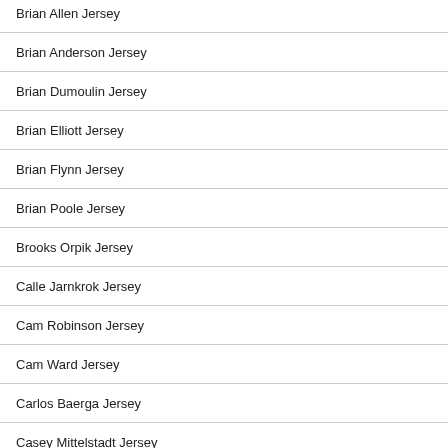Brian Allen Jersey
Brian Anderson Jersey
Brian Dumoulin Jersey
Brian Elliott Jersey
Brian Flynn Jersey
Brian Poole Jersey
Brooks Orpik Jersey
Calle Jarnkrok Jersey
Cam Robinson Jersey
Cam Ward Jersey
Carlos Baerga Jersey
Casey Mittelstadt Jersey